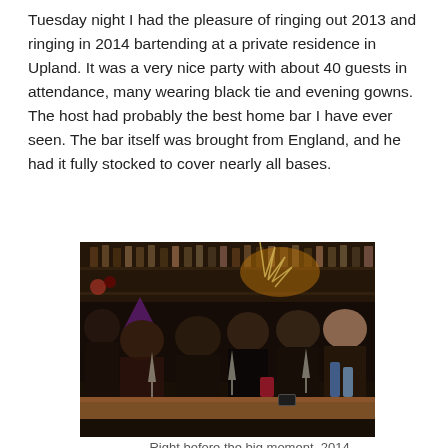Tuesday night I had the pleasure of ringing out 2013 and ringing in 2014 bartending at a private residence in Upland. It was a very nice party with about 40 guests in attendance, many wearing black tie and evening gowns. The host had probably the best home bar I have ever seen. The bar itself was brought from England, and he had it fully stocked to cover nearly all bases.
[Figure (photo): Group photo of people celebrating New Year's Eve at a home bar. Several women in dark clothing holding champagne glasses, one person wearing a party hat. Bar shelves with bottles visible in the background, warm lighting, festive atmosphere.]
Right before the big moment, 2014...